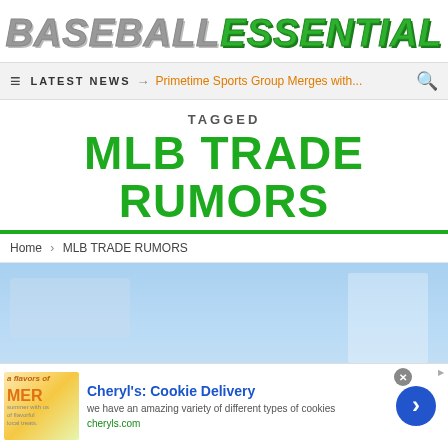BASEBALL ESSENTIAL
LATEST NEWS → Primetime Sports Group Merges with...
TAGGED
MLB TRADE RUMORS
Home › MLB TRADE RUMORS
[Figure (photo): Stadium/bleacher exterior photo with light blue sky background]
Cheryl's: Cookie Delivery — we have an amazing variety of different types of cookies — cheryls.com